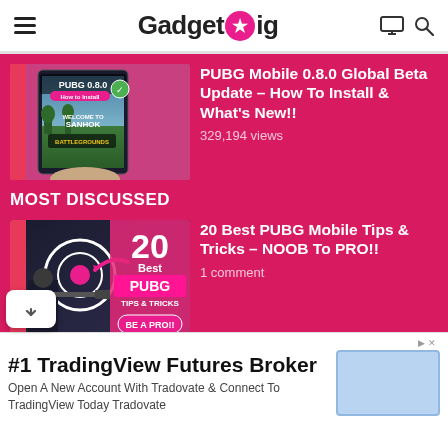GadgetGig
[Figure (screenshot): PUBG Mobile 0.8.0 thumbnail showing PUBG 0.8.0 How to Install text over smartphone with Sanhok Battlegrounds screen]
PUBG Mobile 0.8.0 Global Beta Update – How To Install & What's New!!
329,194 views
MOST DISCUSSED
[Figure (screenshot): 20 Best PUBG Mobile Tips & Tricks thumbnail showing sniper and target with pink text]
20 Best PUBG Mobile Tips & Tricks – NOOB To PRO!!
1 comment
[Figure (screenshot): Partially visible thumbnail with GIVEAWAY x5 text]
PUBG Mobile With
#1 TradingView Futures Broker
Open A New Account With Tradovate & Connect To TradingView Today Tradovate